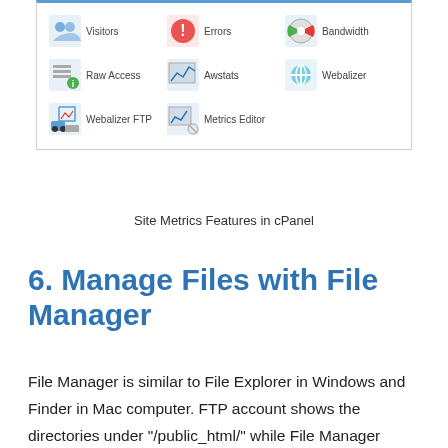[Figure (screenshot): Site Metrics Features panel in cPanel showing icons: Visitors, Errors, Bandwidth, Raw Access, Awstats, Webalizer, Webalizer FTP, Metrics Editor]
Site Metrics Features in cPanel
6. Manage Files with File Manager
File Manager is similar to File Explorer in Windows and Finder in Mac computer. FTP account shows the directories under "/public_html/" while File Manager shows even higher level. For example, SiteGround stores